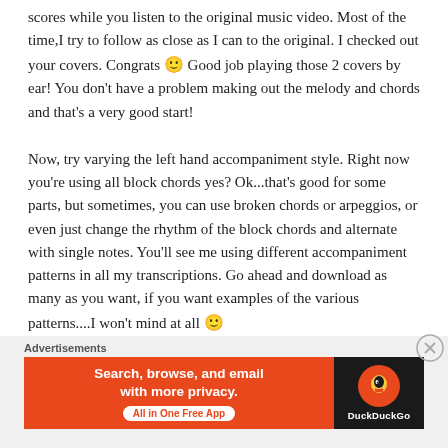scores while you listen to the original music video. Most of the time,I try to follow as close as I can to the original. I checked out your covers. Congrats 🙂 Good job playing those 2 covers by ear! You don't have a problem making out the melody and chords and that's a very good start!
Now, try varying the left hand accompaniment style. Right now you're using all block chords yes? Ok...that's good for some parts, but sometimes, you can use broken chords or arpeggios, or even just change the rhythm of the block chords and alternate with single notes. You'll see me using different accompaniment patterns in all my transcriptions. Go ahead and download as many as you want, if you want examples of the various patterns....I won't mind at all 🙂
Advertisements
[Figure (other): DuckDuckGo advertisement banner: orange left panel with text 'Search, browse, and email with more privacy.' and 'All in One Free App' button; dark right panel with DuckDuckGo logo and brand name.]